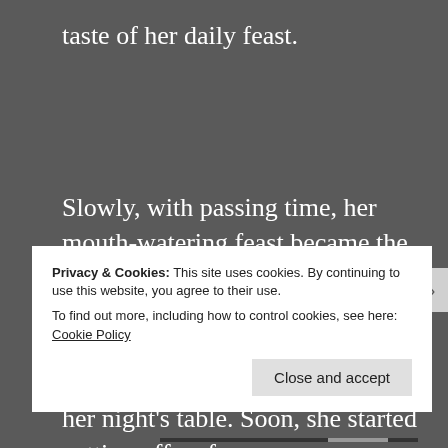taste of her daily feast.
Slowly, with passing time, her mouth-watering feast became the most talked event among the people, even surpassing her healing. Everyone, from long lost places, wanted to get invited to her night's table. Soon, she started getting offers from
Privacy & Cookies: This site uses cookies. By continuing to use this website, you agree to their use.
To find out more, including how to control cookies, see here: Cookie Policy
Close and accept